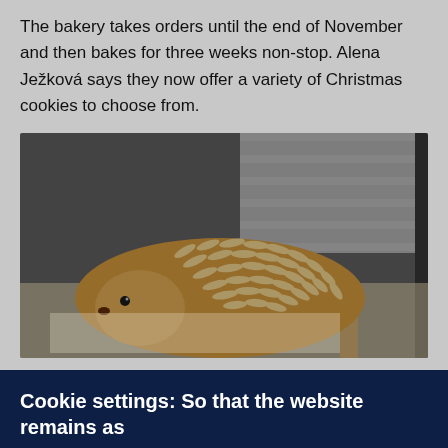The bakery takes orders until the end of November and then bakes for three weeks non-stop. Alena Ježková says they now offer a variety of Christmas cookies to choose from.
[Figure (photo): A bread or pastry shaped like a hedgehog, covered in sliced almonds to resemble spines, resting on a wooden surface in a bakery setting.]
Cookie settings: So that the website remains as